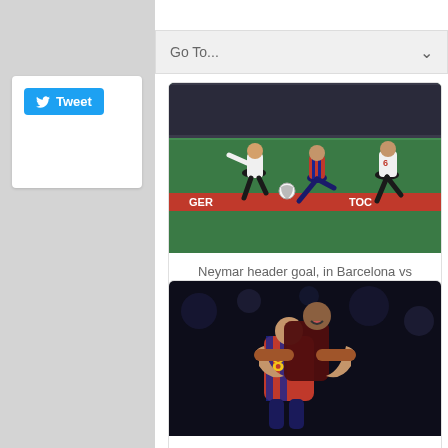Go To...
[Figure (photo): Tweet button widget with Twitter bird icon on blue background]
[Figure (photo): Soccer match photo: Neymar header goal in Barcelona vs Cartagena — players in black/white and red jerseys on green field]
Neymar header goal, in Barcelona vs Cartagena
[Figure (photo): Soccer photo: Neymar jumping and hugging Iniesta (number 8 jersey) in dark stadium]
Neymar jumping and hugging Iniesta